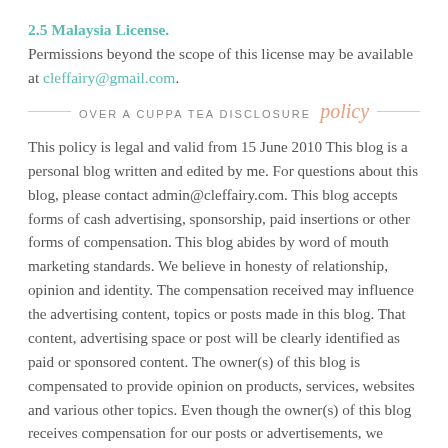2.5 Malaysia License.
Permissions beyond the scope of this license may be available at cleffairy@gmail.com.
OVER A CUPPA TEA DISCLOSURE policy
This policy is legal and valid from 15 June 2010 This blog is a personal blog written and edited by me. For questions about this blog, please contact admin@cleffairy.com. This blog accepts forms of cash advertising, sponsorship, paid insertions or other forms of compensation. This blog abides by word of mouth marketing standards. We believe in honesty of relationship, opinion and identity. The compensation received may influence the advertising content, topics or posts made in this blog. That content, advertising space or post will be clearly identified as paid or sponsored content. The owner(s) of this blog is compensated to provide opinion on products, services, websites and various other topics. Even though the owner(s) of this blog receives compensation for our posts or advertisements, we always give our honest opinions, findings, beliefs, or experiences on those topics or products. The views and opinions expressed on this blog are purely the bloggers'